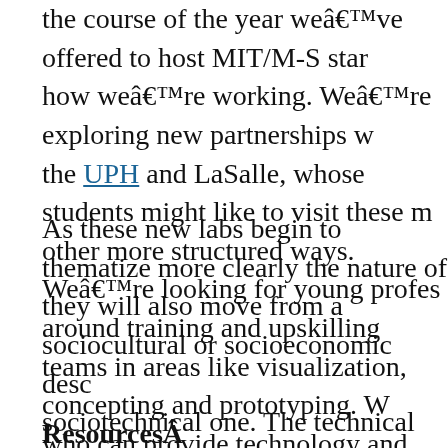the course of the year we've offered to host MIT/M-S staff how we're working. We're exploring new partnerships with the UPH and LaSalle, whose students might like to visit these m other more structured ways. We're looking for young profes around training and upskilling teams in areas like visualization, concepting and prototyping. W who can provide technology and media capabilities to these tear sophisticated ideas for what they want to implement or build.
As these new labs begin to thematize more clearly the nature of they will also move from a sociocultural or socioeconomic desc sociotechnical one. The technical dimension of these challenge health, medical or bio-technologies, it might use big, open, peer mobile apps or platforms, solar energy and home automation so the technical dimension of the challenge, it will be incumbent up expertise to enable and empower labs to address them. That forw effectiveness, sustainability and impact.
ResourcesÂ